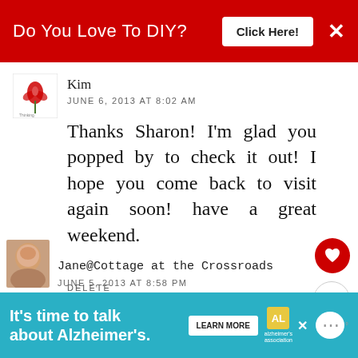Do You Love To DIY?   Click Here!   ×
Kim
JUNE 6, 2013 AT 8:02 AM
Thanks Sharon! I'm glad you popped by to check it out! I hope you come back to visit again soon! have a great weekend.
DELETE
REPLY
WHAT'S NEXT → Patriotic Ribbon Wreath
Jane@Cottage at the Crossroads
JUNE 5, 2013 AT 8:58 PM
It's time to talk about Alzheimer's.   LEARN MORE